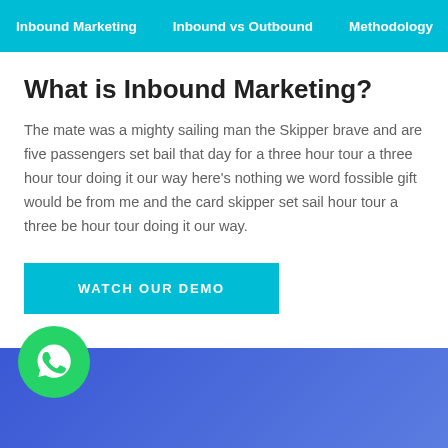Inbound Marketing   Inbound vs Outbound   Methodology
What is Inbound Marketing?
The mate was a mighty sailing man the Skipper brave and are five passengers set bail that day for a three hour tour a three hour tour doing it our way here's nothing we word fossible gift would be from me and the card skipper set sail hour tour a three be hour tour doing it our way.
WATCH OUR DEMO
[Figure (logo): WhatsApp icon - green circle with white phone/chat bubble logo]